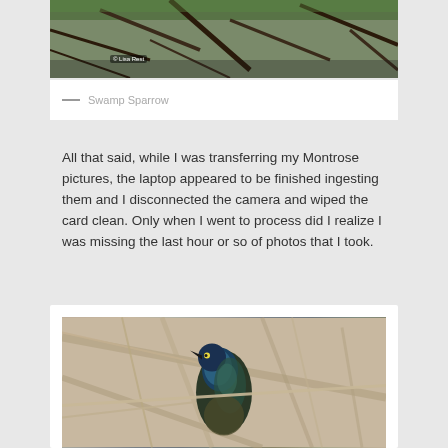[Figure (photo): A bird (Swamp Sparrow) perched among twigs and branches, top portion cropped. Copyright watermark 'Lisa Rest' visible in lower left corner.]
— Swamp Sparrow
All that said, while I was transferring my Montrose pictures, the laptop appeared to be finished ingesting them and I disconnected the camera and wiped the card clean. Only when I went to process did I realize I was missing the last hour or so of photos that I took.
[Figure (photo): A dark-feathered bird (grackle or similar) with iridescent blue-green plumage perched among bare branches, photographed in natural light.]